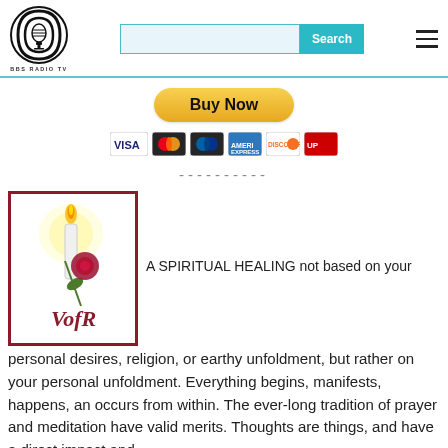[Figure (logo): BBS Radio TV logo: circular black and white icon with microphone/face design, text BBS RADIO TV below]
[Figure (screenshot): Search bar with teal Search button and hamburger menu icon]
[Figure (infographic): PayPal Buy Now yellow button with payment card icons: VISA, Mastercard, Mastercard, American Express, Discover, UnionPay]
----------
[Figure (logo): VofR logo: candle with flame, red rose, text VofR, enclosed in dark red/maroon border]
A SPIRITUAL HEALING not based on your personal desires, religion, or earthy unfoldment, but rather on your personal unfoldment. Everything begins, manifests, happens, an occurs from within. The ever-long tradition of prayer and meditation have valid merits. Thoughts are things, and have a direct impact and